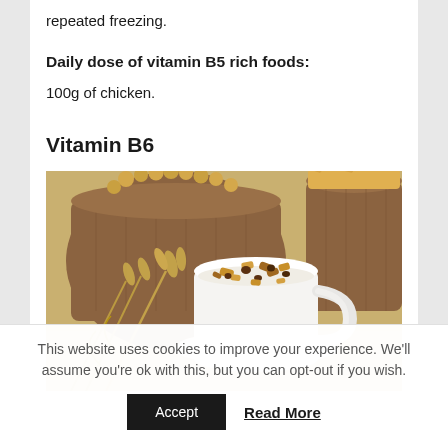repeated freezing.
Daily dose of vitamin B5 rich foods:
100g of chicken.
Vitamin B6
[Figure (photo): A white mug filled with granola/muesli and milk, surrounded by burlap sacks of grains and soybeans, with wheat stalks in the foreground.]
This website uses cookies to improve your experience. We'll assume you're ok with this, but you can opt-out if you wish.
Accept   Read More